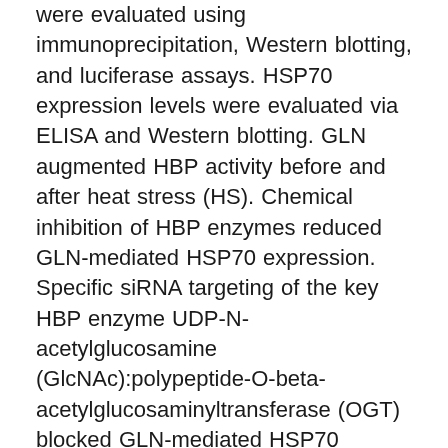were evaluated using immunoprecipitation, Western blotting, and luciferase assays. HSP70 expression levels were evaluated via ELISA and Western blotting. GLN augmented HBP activity before and after heat stress (HS). Chemical inhibition of HBP enzymes reduced GLN-mediated HSP70 expression. Specific siRNA targeting of the key HBP enzyme UDP-N-acetylglucosamine (GlcNAc):polypeptide-O-beta-acetylglucosaminyltransferase (OGT) blocked GLN-mediated HSP70 expression and attenuated GLN-mediated cellular protection post-HS. Chemical and siRNA attenuation of the HBP blocked GLN-induced nuclear translocation of Sp1 and HSF-1, which are key to